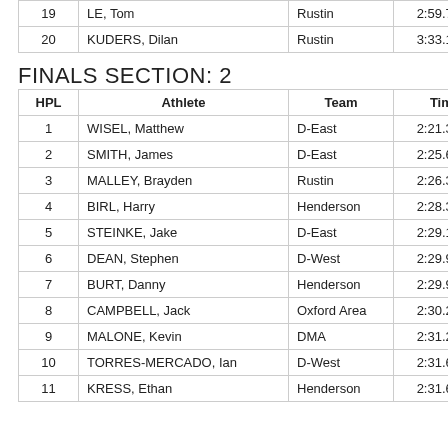| HPL | Athlete | Team | Time |
| --- | --- | --- | --- |
| 19 | LE, Tom | Rustin | 2:59.72 |
| 20 | KUDERS, Dilan | Rustin | 3:33.17 |
FINALS SECTION: 2
| HPL | Athlete | Team | Time |
| --- | --- | --- | --- |
| 1 | WISEL, Matthew | D-East | 2:21.33 |
| 2 | SMITH, James | D-East | 2:25.60 |
| 3 | MALLEY, Brayden | Rustin | 2:26.39 |
| 4 | BIRL, Harry | Henderson | 2:28.37 |
| 5 | STEINKE, Jake | D-East | 2:29.14 |
| 6 | DEAN, Stephen | D-West | 2:29.91 |
| 7 | BURT, Danny | Henderson | 2:29.99 |
| 8 | CAMPBELL, Jack | Oxford Area | 2:30.26 |
| 9 | MALONE, Kevin | DMA | 2:31.24 |
| 10 | TORRES-MERCADO, Ian | D-West | 2:31.65 |
| 11 | KRESS, Ethan | Henderson | 2:31.68 |